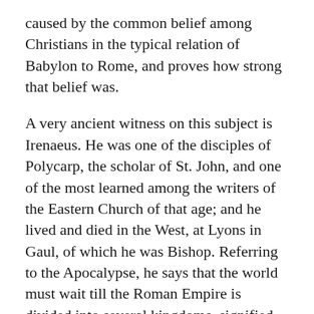caused by the common belief among Christians in the typical relation of Babylon to Rome, and proves how strong that belief was.
A very ancient witness on this subject is Irenaeus. He was one of the disciples of Polycarp, the scholar of St. John, and one of the most learned among the writers of the Eastern Church of that age; and he lived and died in the West, at Lyons in Gaul, of which he was Bishop. Referring to the Apocalypse, he says that the world must wait till the Roman Empire is divided into several kingdoms, signified by the ten Horns of the Beast; and that , when these kingdoms are increasing in might, then a great Power will arise, which will overawe these kingdoms, and will be the Abomination of Desolation, and will be characterized by the number of the Name of the Beast predicted by St. John. As he proceeding to speak of this number, he adds, it